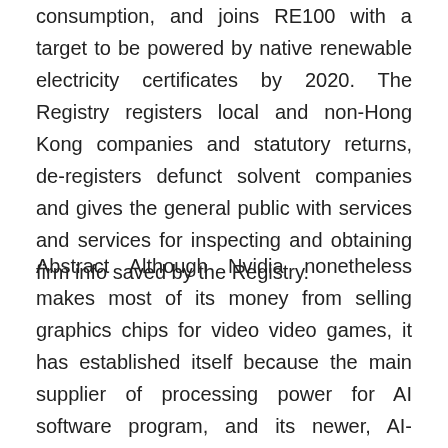consumption, and joins RE100 with a target to be powered by native renewable electricity certificates by 2020. The Registry registers local and non-Hong Kong companies and statutory returns, de-registers defunct solvent companies and gives the general public with services and services for inspecting and obtaining firm info saved by the Registry.
Abstract Although Nvidia nonetheless makes most of its money from selling graphics chips for video video games, it has established itself because the main supplier of processing power for AI software program, and its newer, AI-associated businesses are rising quickly. 113 RE100 companies have